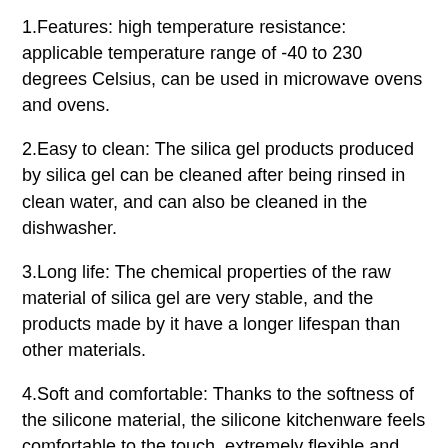1.Features: high temperature resistance: applicable temperature range of -40 to 230 degrees Celsius, can be used in microwave ovens and ovens.
2.Easy to clean: The silica gel products produced by silica gel can be cleaned after being rinsed in clean water, and can also be cleaned in the dishwasher.
3.Long life: The chemical properties of the raw material of silica gel are very stable, and the products made by it have a longer lifespan than other materials.
4.Soft and comfortable: Thanks to the softness of the silicone material, the silicone kitchenware feels comfortable to the touch, extremely flexible and does not deform.
5.Variety of colors: different beautiful colors can be deployed according to the needs of customers.
6.Environmental protection and non-toxic: no toxic and harmful substances are produced from the raw materials.